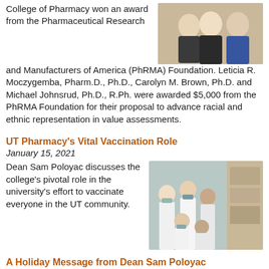College of Pharmacy won an award from the Pharmaceutical Research and Manufacturers of America (PhRMA) Foundation. Leticia R. Moczygemba, Pharm.D., Ph.D., Carolyn M. Brown, Ph.D. and Michael Johnsrud, Ph.D., R.Ph. were awarded $5,000 from the PhRMA Foundation for their proposal to advance racial and ethnic representation in value assessments.
[Figure (photo): Three people (two women and a man) smiling, professional setting]
UT Pharmacy's Vital Vaccination Role
January 15, 2021
Dean Sam Poloyac discusses the college's pivotal role in the university's effort to vaccinate everyone in the UT community.
[Figure (photo): Group of pharmacy staff in white coats and masks, posing together in a warehouse/storage area]
A Holiday Message from Dean Sam Poloyac